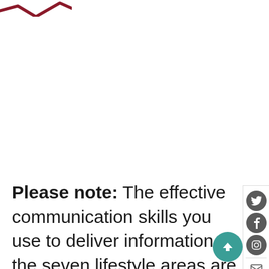[Figure (logo): Partial dark red/maroon logo mark or swoosh shape at top left, cropped by page edge]
Please note: The effective communication skills you use to deliver information on the seven lifestyle areas are transferable to other topics / areas.
[Figure (infographic): Social media sidebar icons (Twitter, Facebook, Instagram) and action icons (email, print) on right edge. Teal/green up-arrow circular button at bottom right.]